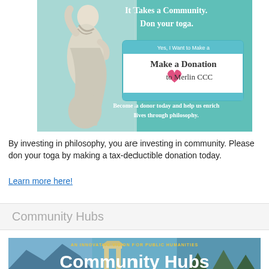[Figure (illustration): Promotional image with Greek philosopher statue on left against teal background. Right side shows teal background with handwritten-style text 'It Takes a Community. Don your toga.' and a white donation button box reading 'Yes, I Want to Make a Make a Donation to Merlin CCC'. Bottom reads 'Become a donor today and help us enrich lives through philosophy.']
By investing in philosophy, you are investing in community. Please don your toga by making a tax-deductible donation today.
Learn more here!
Community Hubs
[Figure (photo): Banner image showing mountain landscapes, ancient Greek ruins (archway), and forest scenery. Text overlay reads 'AN INNOVATIVE VISION FOR PUBLIC HUMANITIES' in gold and 'Community Hubs' in large white bold letters.]